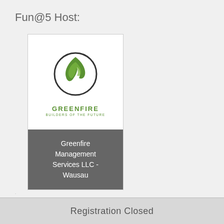Fun@5 Host:
[Figure (logo): Greenfire Builders of the Future logo card with green flame icon, company name GREENFIRE in green letters, tagline BUILDERS OF THE FUTURE, and a dark grey lower panel with company name Greenfire Management Services LLC - Wausau in white text]
Registration Closed